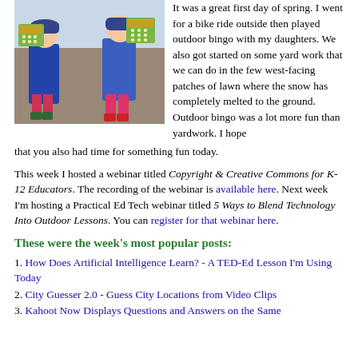[Figure (photo): Two young children holding outdoor bingo boards outdoors in winter clothing]
It was a great first day of spring. I went for a bike ride outside then played outdoor bingo with my daughters. We also got started on some yard work that we can do in the few west-facing patches of lawn where the snow has completely melted to the ground. Outdoor bingo was a lot more fun than yardwork. I hope that you also had time for something fun today.
This week I hosted a webinar titled Copyright & Creative Commons for K-12 Educators. The recording of the webinar is available here. Next week I'm hosting a Practical Ed Tech webinar titled 5 Ways to Blend Technology Into Outdoor Lessons. You can register for that webinar here.
These were the week's most popular posts:
1. How Does Artificial Intelligence Learn? - A TED-Ed Lesson I'm Using Today
2. City Guesser 2.0 - Guess City Locations from Video Clips
3. Kahoot Now Displays Questions and Answers on the Same